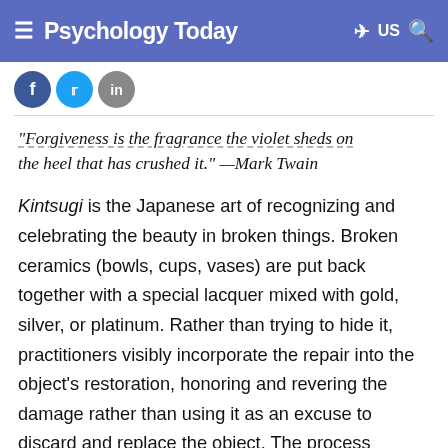Psychology Today — US
[Figure (illustration): Three social media icon circles (Facebook blue, Twitter light blue, gray) partially visible at top left below header]
"Forgiveness is the fragrance the violet sheds on the heel that has crushed it." —Mark Twain
Kintsugi is the Japanese art of recognizing and celebrating the beauty in broken things. Broken ceramics (bowls, cups, vases) are put back together with a special lacquer mixed with gold, silver, or platinum. Rather than trying to hide it, practitioners visibly incorporate the repair into the object's restoration, honoring and revering the damage rather than using it as an excuse to discard and replace the object. The process